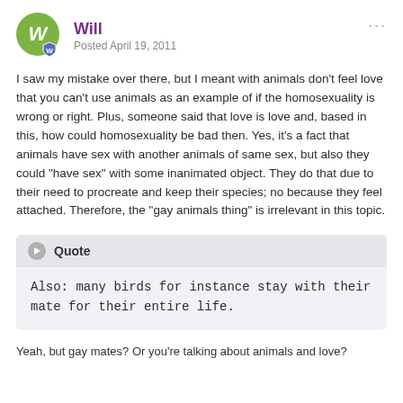Will — Posted April 19, 2011
I saw my mistake over there, but I meant with animals don't feel love that you can't use animals as an example of if the homosexuality is wrong or right. Plus, someone said that love is love and, based in this, how could homosexuality be bad then. Yes, it's a fact that animals have sex with another animals of same sex, but also they could "have sex" with some inanimated object. They do that due to their need to procreate and keep their species; no because they feel attached. Therefore, the "gay animals thing" is irrelevant in this topic.
Quote — Also: many birds for instance stay with their mate for their entire life.
Yeah, but gay mates? Or you're talking about animals and love?